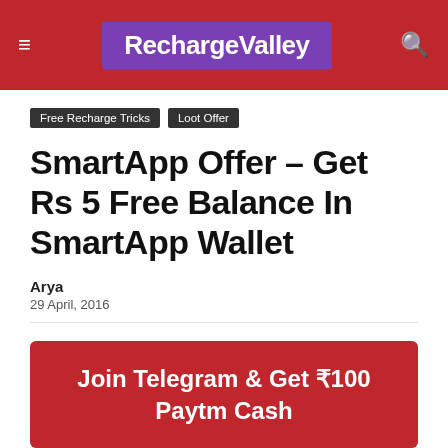RechargeValley
Free Recharge Tricks | Loot Offer
SmartApp Offer – Get Rs 5 Free Balance In SmartApp Wallet
Arya
29 April, 2016
Join Telegram & Get ₹100 Paytm Cash